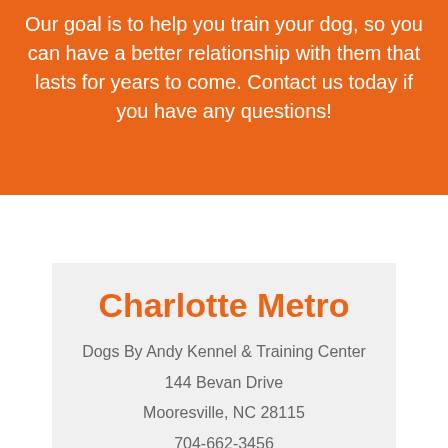Our goal is to help you train your dog, so you can have a better relationship with them that lasts for years to come. Contact us today if you have any questions!
Charlotte Metro
Dogs By Andy Kennel & Training Center
144 Bevan Drive
Mooresville, NC 28115
704-662-3456